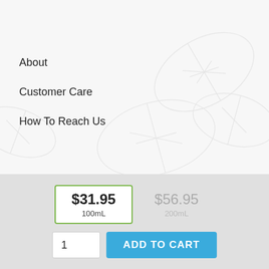[Figure (illustration): Light gray decorative leaf/botanical watermark background pattern on upper section of page]
About
Customer Care
How To Reach Us
$31.95 100mL  $56.95 200mL
1  ADD TO CART